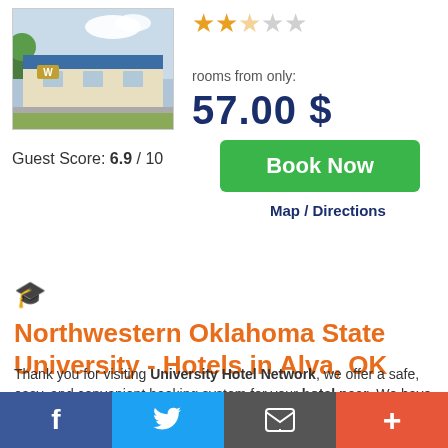[Figure (photo): Photo of a hotel building with blue roof and 'W' sign, surrounded by trees]
[Figure (other): Star rating: 2.5 out of 5 orange stars]
rooms from only:
57.00 $
Book Now
Guest Score: 6.9 / 10
Map / Directions
🎓 Northwestern Oklahoma State University - Hotels in Alva, OK
Thank you for visiting University Hotel Network, we offer a safe, easy, and convenient booking system for your hotel near. We have better hotel rates than most of the other